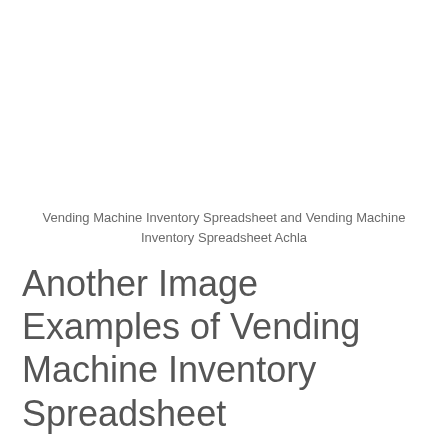Vending Machine Inventory Spreadsheet and Vending Machine Inventory Spreadsheet Achla
Another Image Examples of Vending Machine Inventory Spreadsheet